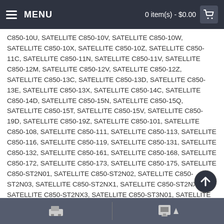MENU | 0 item(s) - $0.00
C850-10U, SATELLITE C850-10V, SATELLITE C850-10W, SATELLITE C850-10X, SATELLITE C850-10Z, SATELLITE C850-11C, SATELLITE C850-11N, SATELLITE C850-11V, SATELLITE C850-12M, SATELLITE C850-12V, SATELLITE C850-12Z, SATELLITE C850-13C, SATELLITE C850-13D, SATELLITE C850-13E, SATELLITE C850-13X, SATELLITE C850-14C, SATELLITE C850-14D, SATELLITE C850-15N, SATELLITE C850-15Q, SATELLITE C850-15T, SATELLITE C850-15V, SATELLITE C850-19D, SATELLITE C850-19Z, SATELLITE C850-101, SATELLITE C850-108, SATELLITE C850-111, SATELLITE C850-113, SATELLITE C850-116, SATELLITE C850-119, SATELLITE C850-131, SATELLITE C850-132, SATELLITE C850-161, SATELLITE C850-168, SATELLITE C850-172, SATELLITE C850-173, SATELLITE C850-175, SATELLITE C850-ST2N01, SATELLITE C850-ST2N02, SATELLITE C850-ST2N03, SATELLITE C850-ST2NX1, SATELLITE C850-ST2NX2, SATELLITE C850-ST2NX3, SATELLITE C850-ST3N01, SATELLITE C850-ST3N02, SATELLITE C850-ST3N03, SATELLITE C850-ST3NX1, SATELLITE C850-ST3NX2, SATELLITE C850-ST3NX3, SATELLITE C850-T03B, SATELLITE C850-T05B, SATELLITE C850/0F3, SATELLITE C850/00M, SATELLITE C850/02D, SATELLITE C850/04G, SATELLITE C850/04Q, SATELLITE C850/05D, SATELLITE C850/05E